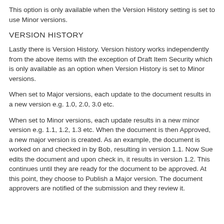This option is only available when the Version History setting is set to use Minor versions.
VERSION HISTORY
Lastly there is Version History. Version history works independently from the above items with the exception of Draft Item Security which is only available as an option when Version History is set to Minor versions.
When set to Major versions, each update to the document results in a new version e.g. 1.0, 2.0, 3.0 etc.
When set to Minor versions, each update results in a new minor version e.g. 1.1, 1.2, 1.3 etc. When the document is then Approved, a new major version is created. As an example, the document is worked on and checked in by Bob, resulting in version 1.1. Now Sue edits the document and upon check in, it results in version 1.2. This continues until they are ready for the document to be approved. At this point, they choose to Publish a Major version. The document approvers are notified of the submission and they review it.